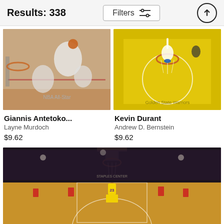Results: 338
[Figure (screenshot): Filters button with sliders icon and upload arrow button in header]
[Figure (photo): Giannis Antetokounmpo dunking in NBA All-Star game, players in white uniforms]
Giannis Antetoko...
Layne Murdoch
$9.62
[Figure (photo): Kevin Durant dunking from above the rim for Golden State Warriors, aerial view of court]
Kevin Durant
Andrew D. Bernstein
$9.62
[Figure (photo): LeBron James wearing Lakers #23 jersey driving to the basket in a packed arena against Houston Rockets]